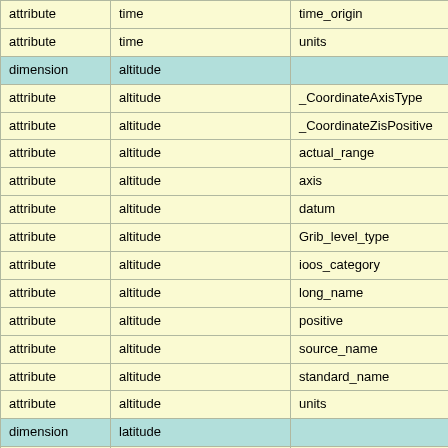|  |  |  |
| --- | --- | --- |
| attribute | time | time_origin |
| attribute | time | units |
| dimension | altitude |  |
| attribute | altitude | _CoordinateAxisType |
| attribute | altitude | _CoordinateZisPositive |
| attribute | altitude | actual_range |
| attribute | altitude | axis |
| attribute | altitude | datum |
| attribute | altitude | Grib_level_type |
| attribute | altitude | ioos_category |
| attribute | altitude | long_name |
| attribute | altitude | positive |
| attribute | altitude | source_name |
| attribute | altitude | standard_name |
| attribute | altitude | units |
| dimension | latitude |  |
| attribute | latitude | _CoordinateAxisType |
| attribute | latitude | actual_range |